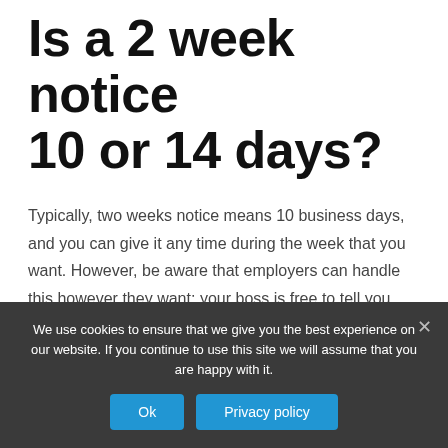Is a 2 week notice 10 or 14 days?
Typically, two weeks notice means 10 business days, and you can give it any time during the week that you want. However, be aware that employers can handle this however they want; your boss is free to tell you that they don't need you to work the full two weeks and your last day will be this Friday — or even today.
WHO SAID Find a
We use cookies to ensure that we give you the best experience on our website. If you continue to use this site we will assume that you are happy with it.